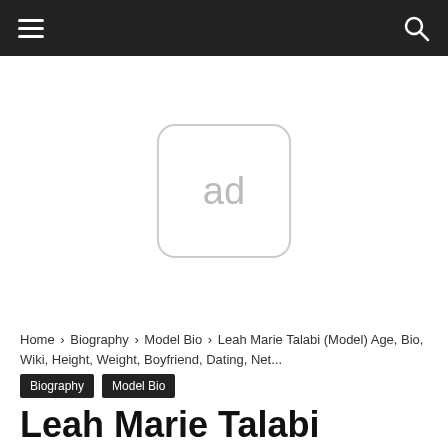Navigation bar with hamburger menu and search icon
[Figure (other): Advertisement placeholder box with 'ad' text centered, rounded rectangle border in light gray]
Home › Biography › Model Bio › Leah Marie Talabi (Model) Age, Bio, Wiki, Height, Weight, Boyfriend, Dating, Net...
Biography
Model Bio
Leah Marie Talabi (Model) Age,